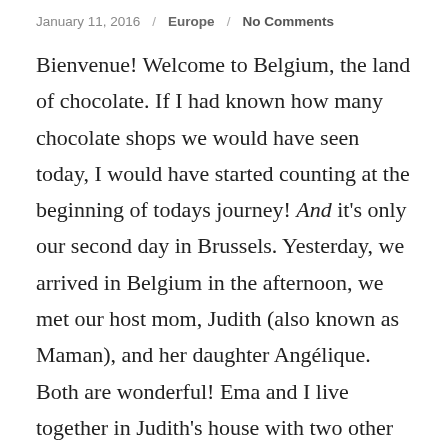January 11, 2016 / Europe / No Comments
Bienvenue! Welcome to Belgium, the land of chocolate. If I had known how many chocolate shops we would have seen today, I would have started counting at the beginning of todays journey! And it's only our second day in Brussels. Yesterday, we arrived in Belgium in the afternoon, we met our host mom, Judith (also known as Maman), and her daughter Angélique. Both are wonderful! Ema and I live together in Judith's house with two other girls: Erica (of Washington) and Domenica (of Ecudor). This morning, we scouted out the grocery stores of our area: fresh fruit, muesli, and chocolate spreads galore! Later, after lunch,